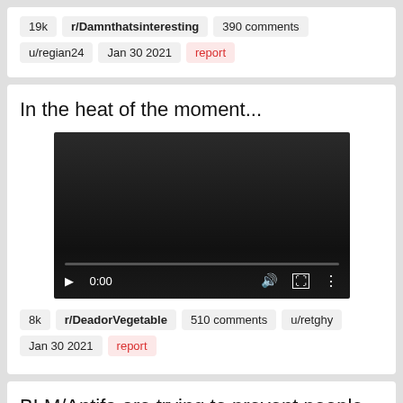19k   r/Damnthatsinteresting   390 comments
u/regian24   Jan 30 2021   report
In the heat of the moment...
[Figure (screenshot): Video player showing 0:00 timestamp with play, volume, fullscreen, and menu controls on dark background]
8k   r/DeadorVegetable   510 comments   u/retghy
Jan 30 2021   report
BLM/Antifa are trying to prevent people